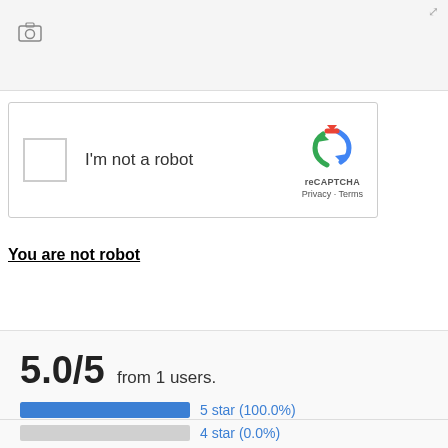[Figure (screenshot): Top navigation bar with camera icon and resize handle icon]
[Figure (screenshot): reCAPTCHA widget with checkbox 'I'm not a robot', reCAPTCHA logo, Privacy and Terms links]
You are not robot
Review
[Figure (bar-chart): 5.0/5 from 1 users.]
Reviews: 0 - Write a review